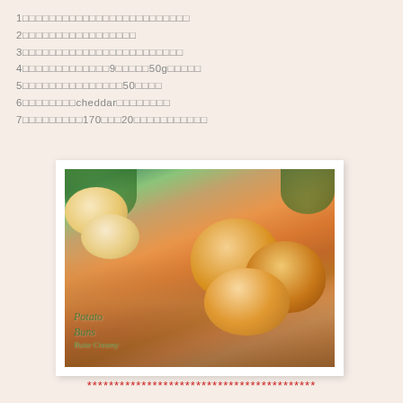1□□□□□□□□□□□□□□□□□□□□□□□
2□□□□□□□□□□□□□□□□□
3□□□□□□□□□□□□□□□□□□□□□□□
4□□□□□□□□□□□□□9□□□□□□50g□□□□□
5□□□□□□□□□□□□□□□□50□□□
6□□□□□□□□cheddar□□□□□□□□
7□□□□□□□□□170□□□20□□□□□□□□□□□
[Figure (photo): Photo of golden-brown potato buns arranged in a wicker basket and on a wooden board, with green plants in the background. Text overlay reads 'Potato Buns' in green italic font.]
******************************************